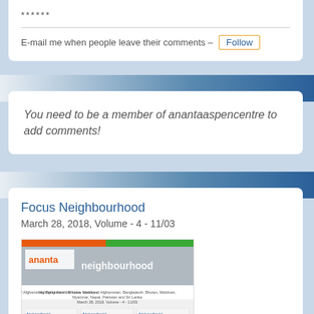******
E-mail me when people leave their comments – Follow
You need to be a member of anantaaspencentre to add comments!
Focus Neighbourhood
March 28, 2018, Volume - 4 - 11/03
[Figure (illustration): Thumbnail of Focus Neighbourhood newsletter showing ananta logo and neighbourhood header image with text columns below]